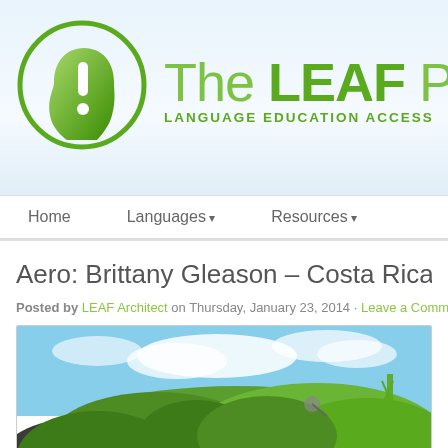[Figure (logo): The LEAF Project logo — green head silhouette with exclamation mark, next to text 'The LEAF PRO' and 'LANGUAGE EDUCATION ACCESS']
Home | Languages | Resources
Aero: Brittany Gleason – Costa Rica 20
Posted by LEAF Architect on Thursday, January 23, 2014 · Leave a Comment
[Figure (photo): Outdoor landscape photo showing lush green treetops under a blue sky with clouds, and a green metal tower or antenna structure visible on the right side]